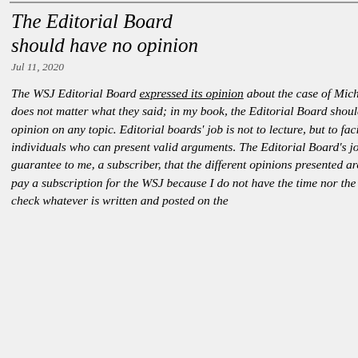The Editorial Board should have no opinion
Jul 11, 2020
The WSJ Editorial Board expressed its opinion about the case of Michael Flynn. It does not matter what they said; in my book, the Editorial Board should have no opinion on any topic. Editorial boards' job is not to lecture, but to facilitate views from individuals who can present valid arguments. The Editorial Board's job at the WSJ is to guarantee to me, a subscriber, that the different opinions presented are fact-checked. I pay a subscription for the WSJ because I do not have the time nor the means to fact-check whatever is written and posted on the
Nov 30, 2015
Carolyn Gregoire tries to e Can't Accept That Climate wrong; the answer is even
Ms. Gregoire attacks conse are. She assumes that this between conservatives and establishment and does no American society. This rift populous league of intellec sides of the spectrum, who conservatives or liberals re audience without much inte that a well-educated young